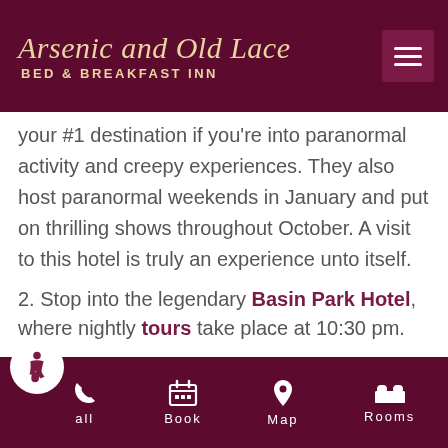Arsenic and Old Lace Bed & Breakfast Inn
your #1 destination if you're into paranormal activity and creepy experiences. They also host paranormal weekends in January and put on thrilling shows throughout October. A visit to this hotel is truly an experience unto itself.
Stop into the legendary Basin Park Hotel, where nightly tours take place at 10:30 pm.
Join the stars of the local Intrigue Theater for a fascinating night of intrigue and a bit of magic.
Call  Book  Map  Rooms